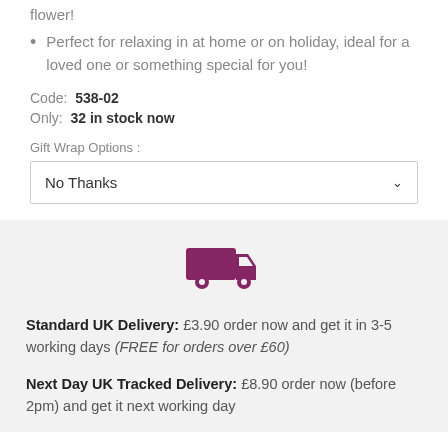flower!
Perfect for relaxing in at home or on holiday, ideal for a loved one or something special for you!
Code: 538-02
Only: 32 in stock now
Gift Wrap Options :
No Thanks
[Figure (illustration): Dark pink/maroon delivery truck icon]
Standard UK Delivery: £3.90 order now and get it in 3-5 working days (FREE for orders over £60)
Next Day UK Tracked Delivery: £8.90 order now (before 2pm) and get it next working day